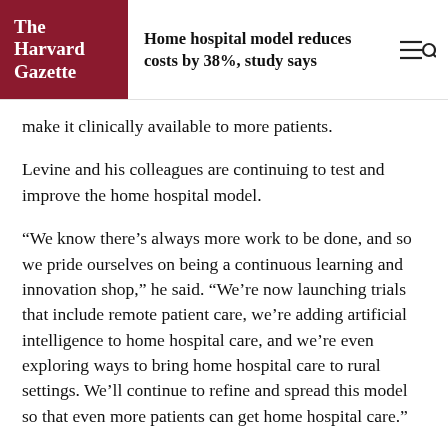The Harvard Gazette — Home hospital model reduces costs by 38%, study says
make it clinically available to more patients.
Levine and his colleagues are continuing to test and improve the home hospital model.
“We know there’s always more work to be done, and so we pride ourselves on being a continuous learning and innovation shop,” he said. “We’re now launching trials that include remote patient care, we’re adding artificial intelligence to home hospital care, and we’re even exploring ways to bring home hospital care to rural settings. We’ll continue to refine and spread this model so that even more patients can get home hospital care.”
This work is supported by the Partners HealthCare Center for Population Health and internal departmental funds.